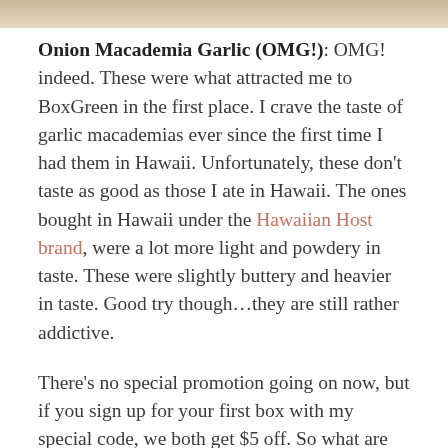[Figure (photo): Partial image of food item visible at the top of the page, cropped]
Onion Macademia Garlic (OMG!): OMG! indeed. These were what attracted me to BoxGreen in the first place. I crave the taste of garlic macademias ever since the first time I had them in Hawaii. Unfortunately, these don't taste as good as those I ate in Hawaii. The ones bought in Hawaii under the Hawaiian Host brand, were a lot more light and powdery in taste. These were slightly buttery and heavier in taste. Good try though...they are still rather addictive.
There's no special promotion going on now, but if you sign up for your first box with my special code, we both get $5 off. So what are you waiting for? Sign up for a BoxGreen subscription and start snacking healthily.